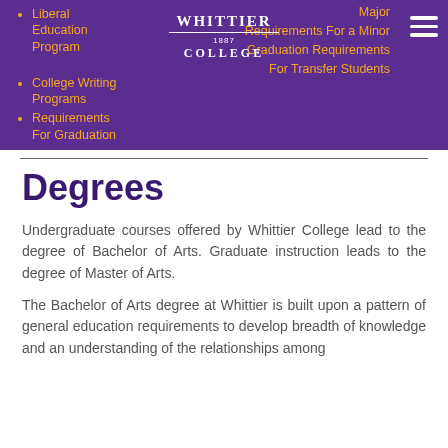Whittier College navigation header with logo and menu items including Liberal Education Program, College Writing Programs, Requirements For Graduation, Major, Requirements For a Minor, Graduation Requirements, For Transfer Students
Liberal Education Program
College Writing Programs
Requirements For Graduation
Major
Requirements For a Minor
Graduation Requirements
For Transfer Students
Degrees
Undergraduate courses offered by Whittier College lead to the degree of Bachelor of Arts. Graduate instruction leads to the degree of Master of Arts.
The Bachelor of Arts degree at Whittier is built upon a pattern of general education requirements to develop breadth of knowledge and an understanding of the relationships among